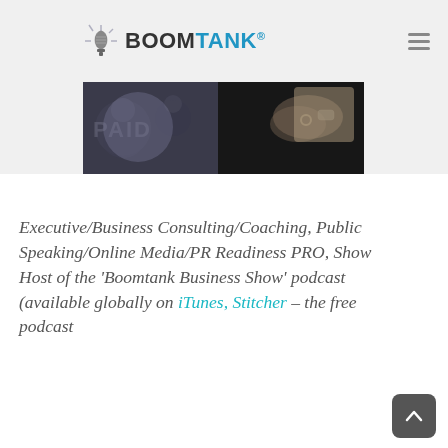BOOMTANK®
[Figure (photo): Two-panel photo strip: left panel shows a dark crowd/audience scene in black and white; right panel shows a close-up of a person's hands/wrist on a dark background.]
Executive/Business Consulting/Coaching, Public Speaking/Online Media/PR Readiness PRO, Show Host of the 'Boomtank Business Show' podcast (available globally on iTunes, Stitcher – the free podcast